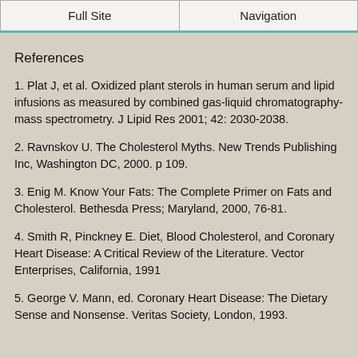Full Site | Navigation
References
1. Plat J, et al. Oxidized plant sterols in human serum and lipid infusions as measured by combined gas-liquid chromatography-mass spectrometry. J Lipid Res 2001; 42: 2030-2038.
2. Ravnskov U. The Cholesterol Myths. New Trends Publishing Inc, Washington DC, 2000. p 109.
3. Enig M. Know Your Fats: The Complete Primer on Fats and Cholesterol. Bethesda Press; Maryland, 2000, 76-81.
4. Smith R, Pinckney E. Diet, Blood Cholesterol, and Coronary Heart Disease: A Critical Review of the Literature. Vector Enterprises, California, 1991
5. George V. Mann, ed. Coronary Heart Disease: The Dietary Sense and Nonsense. Veritas Society, London, 1993.